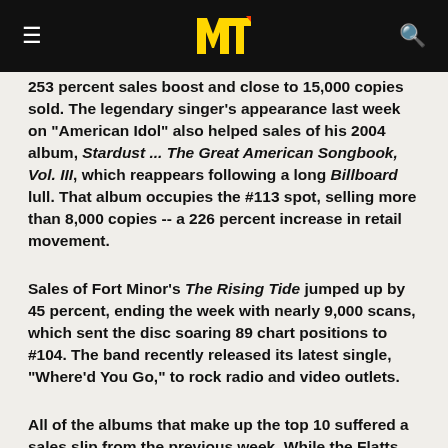MTV
253 percent sales boost and close to 15,000 copies sold. The legendary singer's appearance last week on "American Idol" also helped sales of his 2004 album, Stardust ... The Great American Songbook, Vol. III, which reappears following a long Billboard lull. That album occupies the #113 spot, selling more than 8,000 copies -- a 226 percent increase in retail movement.
Sales of Fort Minor's The Rising Tide jumped up by 45 percent, ending the week with nearly 9,000 scans, which sent the disc soaring 89 chart positions to #104. The band recently released its latest single, "Where'd You Go," to rock radio and video outlets.
All of the albums that make up the top 10 suffered a sales slip from the previous week. While the Flatts LP